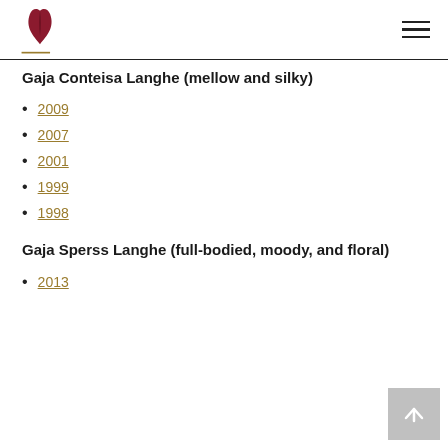Logo and navigation header
Gaja Conteisa Langhe (mellow and silky)
2009
2007
2001
1999
1998
Gaja Sperss Langhe (full-bodied, moody, and floral)
2013